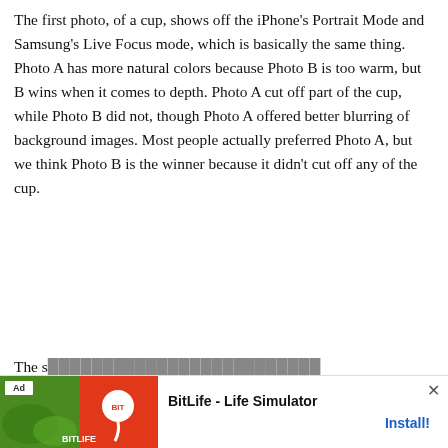The first photo, of a cup, shows off the iPhone's Portrait Mode and Samsung's Live Focus mode, which is basically the same thing. Photo A has more natural colors because Photo B is too warm, but B wins when it comes to depth. Photo A cut off part of the cup, while Photo B did not, though Photo A offered better blurring of background images. Most people actually preferred Photo A, but we think Photo B is the winner because it didn't cut off any of the cup.
[Figure (photo): Side-by-side comparison of two portrait mode photos of a gray Apple mug on a wooden table with toy figures in the background. Photo A (left, iPhone) and Photo B (right, Samsung) separated by a black vertical dividing line. The left photo has warmer, slightly cropped composition; the right is slightly cooler and shows the full cup.]
[Figure (screenshot): Ad banner for BitLife - Life Simulator app with green/red graphic, Ad label, app icon, title text and Install button, with X close button.]
The s… with